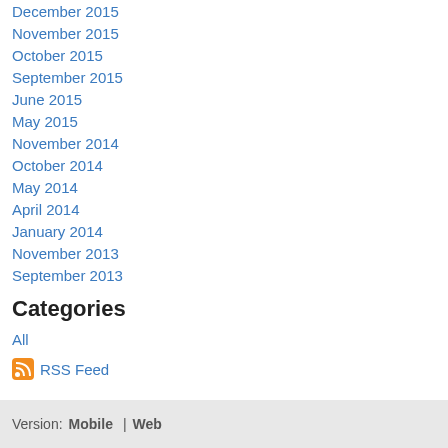December 2015
November 2015
October 2015
September 2015
June 2015
May 2015
November 2014
October 2014
May 2014
April 2014
January 2014
November 2013
September 2013
Categories
All
RSS Feed
Version:  Mobile  |  Web